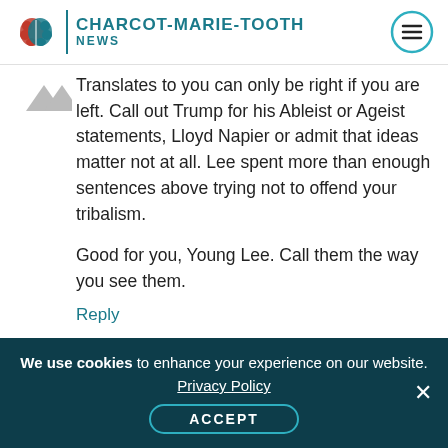CHARCOT-MARIE-TOOTH NEWS
Translates to you can only be right if you are left. Call out Trump for his Ableist or Ageist statements, Lloyd Napier or admit that ideas matter not at all. Lee spent more than enough sentences above trying not to offend your tribalism.

Good for you, Young Lee. Call them the way you see them.
Reply
We use cookies to enhance your experience on our website. Privacy Policy ACCEPT